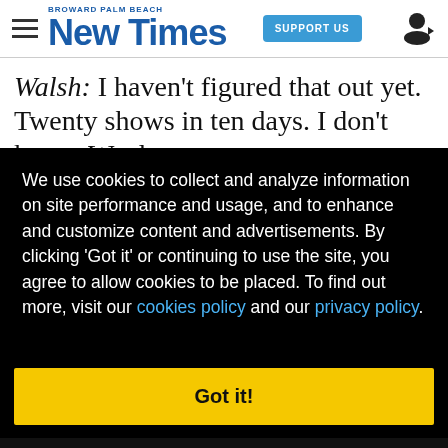Broward Palm Beach New Times — SUPPORT US
Walsh: I haven't figured that out yet. Twenty shows in ten days. I don't know. We do warm- [ups] a lot.
We use cookies to collect and analyze information on site performance and usage, and to enhance and customize content and advertisements. By clicking 'Got it' or continuing to use the site, you agree to allow cookies to be placed. To find out more, visit our cookies policy and our privacy policy.
Got it!